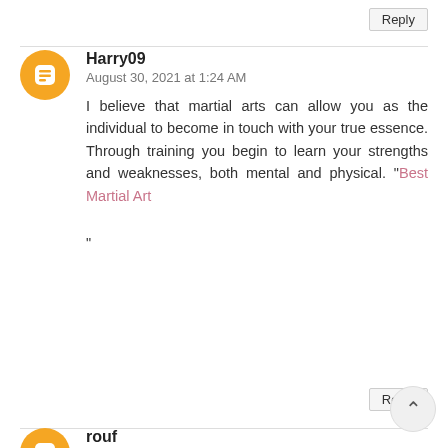Reply
Harry09
August 30, 2021 at 1:24 AM
I believe that martial arts can allow you as the individual to become in touch with your true essence. Through training you begin to learn your strengths and weaknesses, both mental and physical. "Best Martial Art
"
Reply
rouf
August 31, 2021 at 2:58 AM
We are tied directly into the sate's renewal